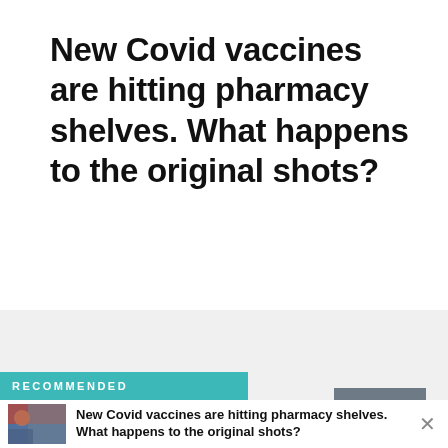New Covid vaccines are hitting pharmacy shelves. What happens to the original shots?
[Figure (logo): S+ badge — gray square with white S and teal plus sign, representing a subscription tier logo]
RECOMMENDED
[Figure (photo): Thumbnail photo of people outdoors]
New Covid vaccines are hitting pharmacy shelves. What happens to the original shots?